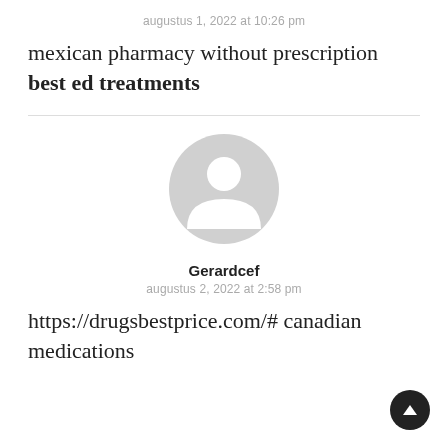augustus 1, 2022 at 10:26 pm
mexican pharmacy without prescription best ed treatments
[Figure (illustration): Generic user avatar: gray circle with white person silhouette]
Gerardcef
augustus 2, 2022 at 2:58 pm
https://drugsbestprice.com/# canadian medications